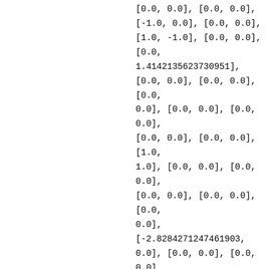[0.0, 0.0], [0.0, 0.0],
[-1.0, 0.0], [0.0, 0.0],
[1.0, -1.0], [0.0, 0.0],
[0.0, 1.4142135623730951],
[0.0, 0.0], [0.0, 0.0], [0.0,
0.0], [0.0, 0.0], [0.0, 0.0],
[0.0, 0.0], [0.0, 0.0], [1.0,
1.0], [0.0, 0.0], [0.0, 0.0],
[0.0, 0.0], [0.0, 0.0], [0.0,
0.0], [-2.8284271247461903,
0.0], [0.0, 0.0], [0.0, 0.0],
[0.0, 0.0], [0.0, 0.0], [0.0,
0.0], [0.0, 0.0], [0.0, 0.0],
[0.0, 0.0], [0.0, 0.0], [0.0,
0.0], [0.0, 0.0], [0.0, 0.0],
[0.0, 0.0], [0.0, 0.0], [0.0,
0.0], [-1.0, -1.0], [0.0,
0.0], [0.0, 0.0], [0.0, 0.0],
[-1.4142135623730951, 0.0],
[0.0, 0.0], [0.0, 0.0], [0.0,